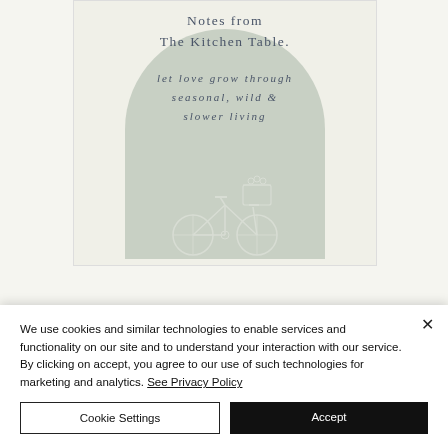[Figure (illustration): Book cover image for 'Notes from The Kitchen Table' featuring text on a cream background with a sage green arch shape and a bicycle illustration with flowers in the basket. Subtitle reads 'let love grow through seasonal, wild & slower living'.]
We use cookies and similar technologies to enable services and functionality on our site and to understand your interaction with our service. By clicking on accept, you agree to our use of such technologies for marketing and analytics. See Privacy Policy
Cookie Settings
Accept